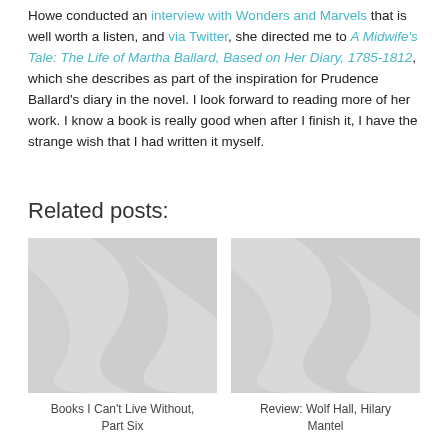Howe conducted an interview with Wonders and Marvels that is well worth a listen, and via Twitter, she directed me to A Midwife's Tale: The Life of Martha Ballard, Based on Her Diary, 1785-1812, which she describes as part of the inspiration for Prudence Ballard's diary in the novel. I look forward to reading more of her work. I know a book is really good when after I finish it, I have the strange wish that I had written it myself.
Related posts:
[Figure (illustration): Placeholder image with diagonal swoosh shapes in light gray, for blog post: Books I Can't Live Without, Part Six]
Books I Can't Live Without, Part Six
[Figure (illustration): Placeholder image with diagonal swoosh shapes in light gray, for blog post: Review: Wolf Hall, Hilary Mantel]
Review: Wolf Hall, Hilary Mantel